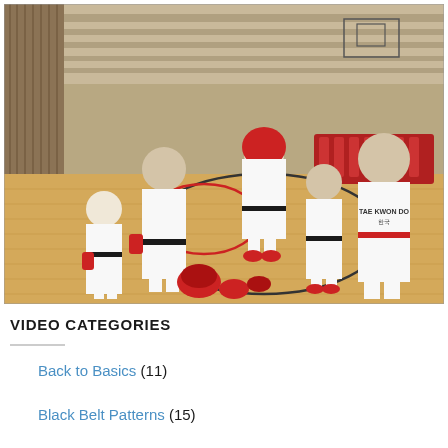[Figure (photo): Taekwondo practice in a gymnasium. Several people wearing white dobok (uniforms) with black and red belts are sparring or standing in formation on a wooden court floor. One participant in the center wears a red protective headgear. Red sparring gear and helmets are visible on the floor and in the background. A basketball hoop is visible on the far wall.]
VIDEO CATEGORIES
Back to Basics (11)
Black Belt Patterns (15)